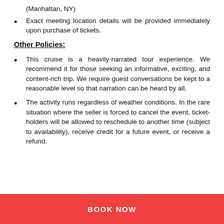(Manhattan, NY)
Exact meeting location details will be provided immediately upon purchase of tickets.
Other Policies:
This cruise is a heavily-narrated tour experience. We recommend it for those seeking an informative, exciting, and content-rich trip. We require guest conversations be kept to a reasonable level so that narration can be heard by all.
The activity runs regardless of weather conditions. In the rare situation where the seller is forced to cancel the event, ticket-holders will be allowed to reschedule to another time (subject to availability), receive credit for a future event, or receive a refund.
BOOK NOW